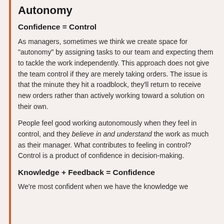Autonomy
Confidence = Control
As managers, sometimes we think we create space for "autonomy" by assigning tasks to our team and expecting them to tackle the work independently. This approach does not give the team control if they are merely taking orders. The issue is that the minute they hit a roadblock, they'll return to receive new orders rather than actively working toward a solution on their own.
People feel good working autonomously when they feel in control, and they believe in and understand the work as much as their manager. What contributes to feeling in control? Control is a product of confidence in decision-making.
Knowledge + Feedback = Confidence
We're most confident when we have the knowledge we